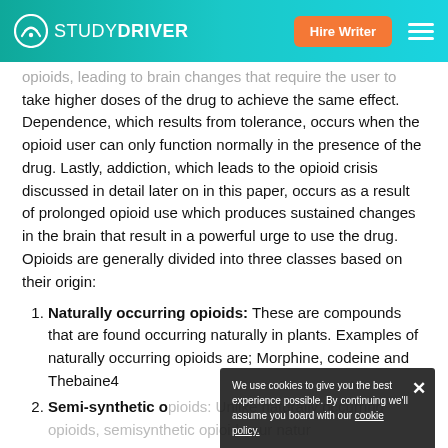STUDYDRIVER | Hire Writer
opioids, leading to brain changes that require the user to take higher doses of the drug to achieve the same effect. Dependence, which results from tolerance, occurs when the opioid user can only function normally in the presence of the drug. Lastly, addiction, which leads to the opioid crisis discussed in detail later on in this paper, occurs as a result of prolonged opioid use which produces sustained changes in the brain that result in a powerful urge to use the drug. Opioids are generally divided into three classes based on their origin:
Naturally occurring opioids: These are compounds that are found occurring naturally in plants. Examples of naturally occurring opioids are; Morphine, codeine and Thebaine4
Semi-synthetic opioids: Unlike naturally occurring opioids, semisynthetic opioids are not naturally...
We use cookies to give you the best experience possible. By continuing we'll assume you board with our cookie policy.